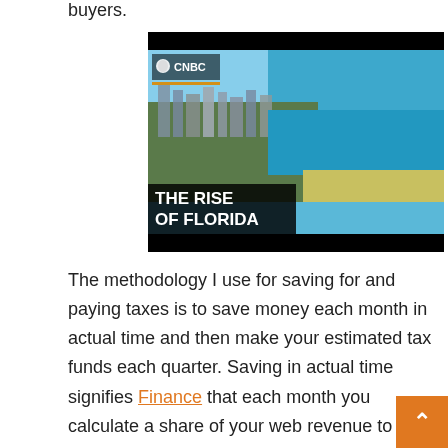buyers.
[Figure (photo): CNBC video thumbnail showing aerial view of Florida coastline with 'THE RISE OF FLORIDA' title text overlay and CNBC logo]
The methodology I use for saving for and paying taxes is to save money each month in actual time and then make your estimated tax funds each quarter. Saving in actual time signifies Finance that each month you calculate a share of your web revenue to avoid wa for taxes and immediately transfer that money to